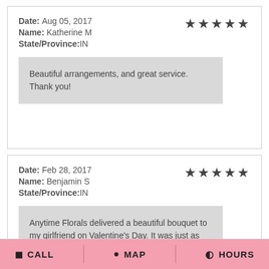Date: Aug 05, 2017
Name: Katherine M
State/Province:IN
★★★★★
Beautiful arrangements, and great service. Thank you!
Date: Feb 28, 2017
Name: Benjamin S
State/Province:IN
★★★★★
Anytime Florals delivered a beautiful bouquet to my girlfriend on Valentine's Day. It was just as advertised and the flowers
CALL  MAP  HOURS